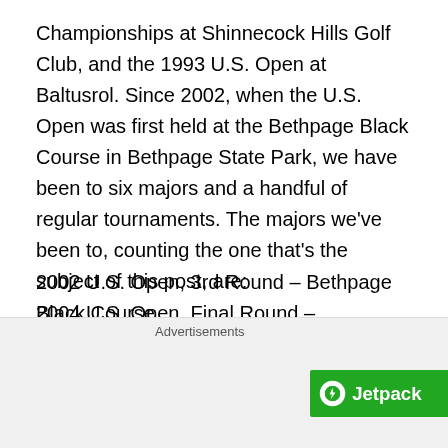Championships at Shinnecock Hills Golf Club, and the 1993 U.S. Open at Baltusrol. Since 2002, when the U.S. Open was first held at the Bethpage Black Course in Bethpage State Park, we have been to six majors and a handful of regular tournaments. The majors we've been to, counting the one that's the subject of this post, are:
2002 U.S. Open, 3rd Round – Bethpage Black Course
2004 U.S. Open, Final Round – Shinnecock Hills Golf Club
2005 PGA Championship, Final Round – Baltusrol Golf Club
2006 U.S. Open, Final Round – Winged Foot Golf Club
2009 U.S. Open, 3rd/Final Round – Bethpage Black
Advertisements
[Figure (infographic): Jetpack advertisement banner with green background, Jetpack logo with lightning bolt icon, and 'Secure Your Site' button]